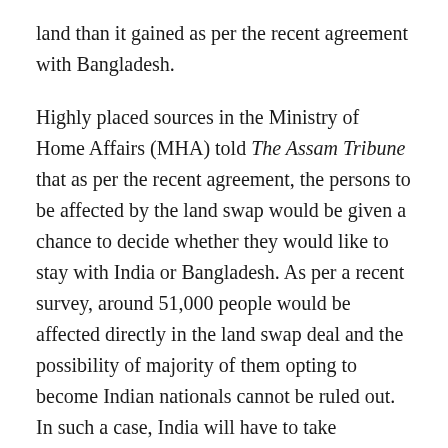land than it gained as per the recent agreement with Bangladesh.
Highly placed sources in the Ministry of Home Affairs (MHA) told The Assam Tribune that as per the recent agreement, the persons to be affected by the land swap would be given a chance to decide whether they would like to stay with India or Bangladesh. As per a recent survey, around 51,000 people would be affected directly in the land swap deal and the possibility of majority of them opting to become Indian nationals cannot be ruled out. In such a case, India will have to take additional burden of population even after losing land to Bangladesh.